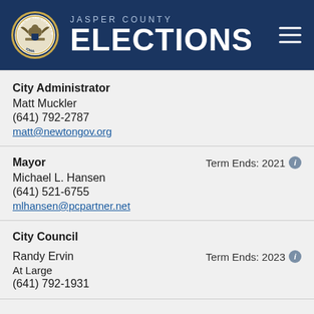JASPER COUNTY ELECTIONS
City Administrator
Matt Muckler
(641) 792-2787
matt@newtongov.org
Mayor
Term Ends: 2021
Michael L. Hansen
(641) 521-6755
mlhansen@pcpartner.net
City Council
Randy Ervin
At Large
(641) 792-1931
Term Ends: 2023